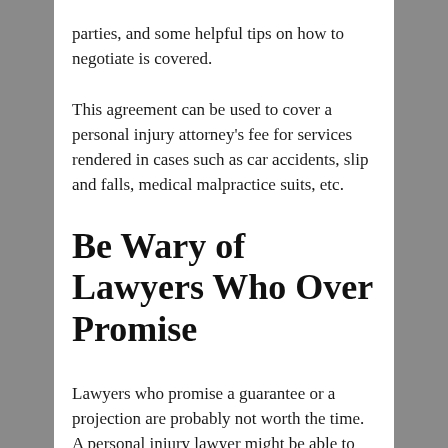parties, and some helpful tips on how to negotiate is covered.
This agreement can be used to cover a personal injury attorney's fee for services rendered in cases such as car accidents, slip and falls, medical malpractice suits, etc.
Be Wary of Lawyers Who Over Promise
Lawyers who promise a guarantee or a projection are probably not worth the time. A personal injury lawyer might be able to offer their expertise, but they might not be able to stand up to the rigorous standards of a typical personal injury attorney. It's